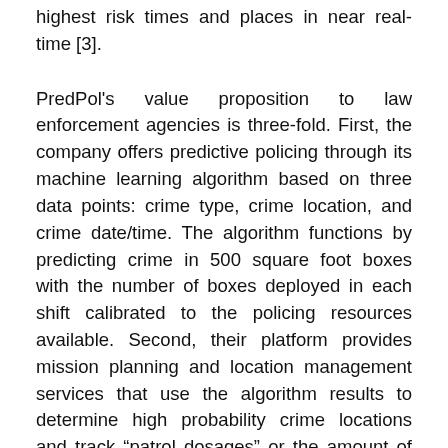highest risk times and places in near real-time [3].
PredPol's value proposition to law enforcement agencies is three-fold. First, the company offers predictive policing through its machine learning algorithm based on three data points: crime type, crime location, and crime date/time. The algorithm functions by predicting crime in 500 square foot boxes with the number of boxes deployed in each shift calibrated to the policing resources available. Second, their platform provides mission planning and location management services that use the algorithm results to determine high probability crime locations and track “patrol dosages” or the amount of time officers spend in PredPol boxes. Finally, PredPol offers an analytics and reporting module that allows for custom reports by any combination of crime types, missions, districts, etc., over a defined date range (See Exhibit 1 for a